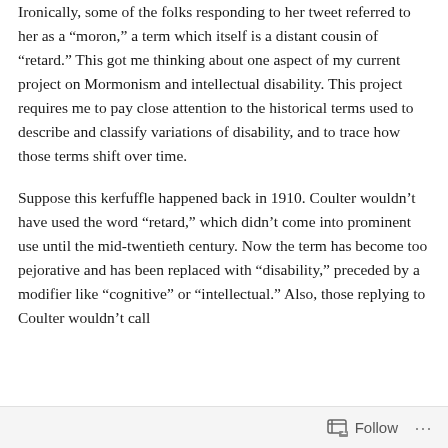Ironically, some of the folks responding to her tweet referred to her as a “moron,” a term which itself is a distant cousin of “retard.” This got me thinking about one aspect of my current project on Mormonism and intellectual disability. This project requires me to pay close attention to the historical terms used to describe and classify variations of disability, and to trace how those terms shift over time.
Suppose this kerfuffle happened back in 1910. Coulter wouldn’t have used the word “retard,” which didn’t come into prominent use until the mid-twentieth century. Now the term has become too pejorative and has been replaced with “disability,” preceded by a modifier like “cognitive” or “intellectual.” Also, those replying to Coulter wouldn’t call
Follow